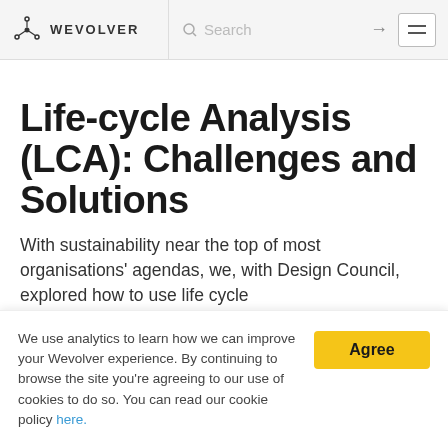WEVOLVER | Search →
Life-cycle Analysis (LCA): Challenges and Solutions
With sustainability near the top of most organisations' agendas, we, with Design Council, explored how to use life cycle
We use analytics to learn how we can improve your Wevolver experience. By continuing to browse the site you're agreeing to our use of cookies to do so. You can read our cookie policy here.